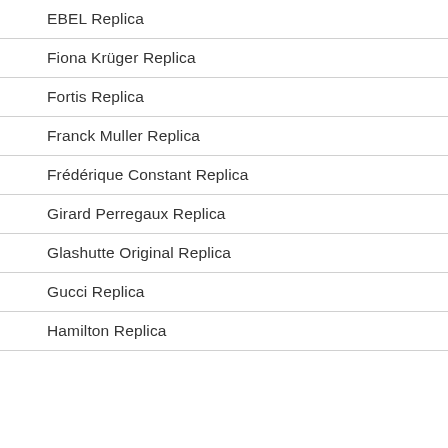EBEL Replica
Fiona Krüger Replica
Fortis Replica
Franck Muller Replica
Frédérique Constant Replica
Girard Perregaux Replica
Glashutte Original Replica
Gucci Replica
Hamilton Replica